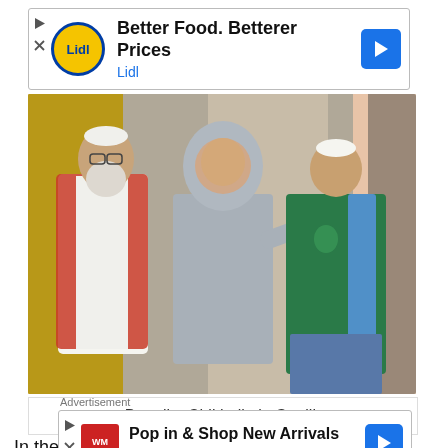[Figure (other): Advertisement banner for Lidl grocery store: 'Better Food. Betterer Prices / Lidl' with Lidl yellow circle logo and navigation arrow button]
[Figure (photo): Photo of Deepika Chikhalia and two other actors in a scene from the TV show/film Gaalib. Three people standing — an older bearded man in red vest on left, a woman in grey hijab in center, and a young man in green hoodie with backpack on right.]
Deepika Chikhalia in Gaalib
In the same year, she appeared in a Gujarati film Natsamrat, as Mangala Pathak. In the 2019 Hindi film Bala, she played the role of Yami Gautam's mother, Susheela Mishra. Deepika Chikhalia got limited success
[Figure (other): Advertisement banner for World Market: 'Pop in & Shop New Arrivals / World Market' with navigation arrow button]